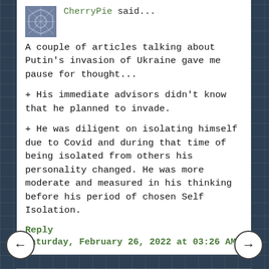CherryPie said...
A couple of articles talking about Putin's invasion of Ukraine gave me pause for thought...
+ His immediate advisors didn't know that he planned to invade.
+ He was diligent on isolating himself due to Covid and during that time of being isolated from others his personality changed. He was more moderate and measured in his thinking before his period of chosen Self Isolation.
Reply
Saturday, February 26, 2022 at 03:26 AM